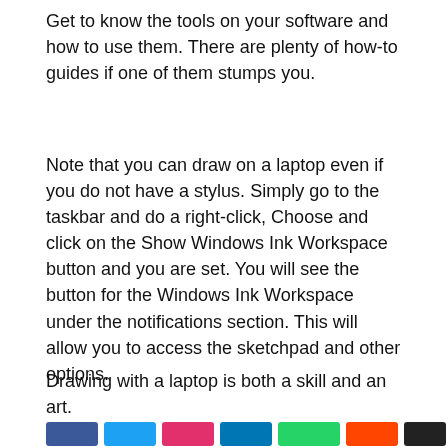Get to know the tools on your software and how to use them. There are plenty of how-to guides if one of them stumps you.
Note that you can draw on a laptop even if you do not have a stylus. Simply go to the taskbar and do a right-click, Choose and click on the Show Windows Ink Workspace button and you are set. You will see the button for the Windows Ink Workspace under the notifications section. This will allow you to access the sketchpad and other options.
Drawing with a laptop is both a skill and an art.
[Figure (other): Row of social sharing buttons in various colors (blue, teal, red/pink, dark teal, green, orange-red, black) at the bottom of the page.]